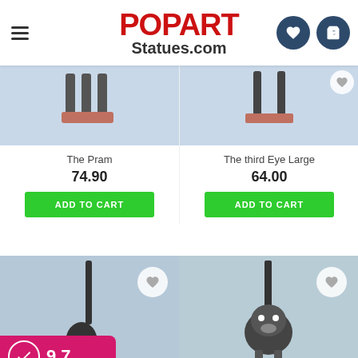[Figure (screenshot): POPARTStatues.com website header with hamburger menu, red logo text 'POPART Statues.com', heart icon and shopping bag icon on dark blue circles]
The Pram
74.90
ADD TO CART
[Figure (photo): Partial view of a product - The third Eye Large statue showing long thin legs on a pink/terracotta base, photographed on blue-grey background]
The third Eye Large
64.00
ADD TO CART
[Figure (photo): Black cat statue with very long tail, facing away, on blue-grey background]
[Figure (photo): Black fluffy cat statue with long tail raised, facing camera, on blue-grey background]
[Figure (logo): Rating badge: pink/magenta background with circular check icon and score 9,7]